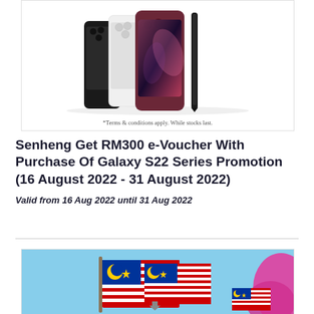[Figure (photo): Samsung Galaxy S22 Series smartphones (black, white, burgundy/maroon) displayed upright with a stylus pen on the right side. Bottom caption reads: *Terms & conditions apply. While stocks last.]
*Terms & conditions apply. While stocks last.
Senheng Get RM300 e-Voucher With Purchase Of Galaxy S22 Series Promotion (16 August 2022 - 31 August 2022)
Valid from 16 Aug 2022 until 31 Aug 2022
[Figure (illustration): Malaysian national flags illustration on a light blue background with a pink/magenta blob shape on the right side. A small Malaysian flag badge visible on the right.]